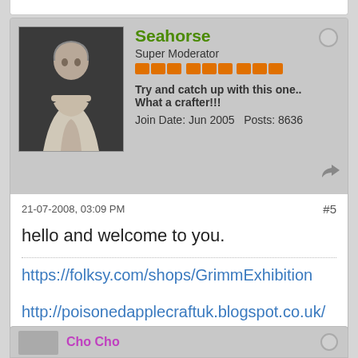Seahorse
Super Moderator
Try and catch up with this one.. What a crafter!!!
Join Date: Jun 2005   Posts: 8636
21-07-2008, 03:09 PM
#5
hello and welcome to you.
https://folksy.com/shops/GrimmExhibition
http://poisonedapplecraftuk.blogspot.co.uk/
Poisoned Apple Theatre - Handmade Crafts on Facebook